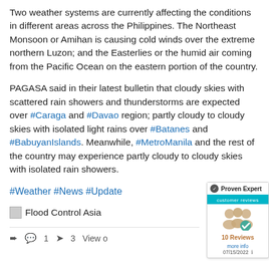Two weather systems are currently affecting the conditions in different areas across the Philippines. The Northeast Monsoon or Amihan is causing cold winds over the extreme northern Luzon; and the Easterlies or the humid air coming from the Pacific Ocean on the eastern portion of the country.
PAGASA said in their latest bulletin that cloudy skies with scattered rain showers and thunderstorms are expected over #Caraga and #Davao region; partly cloudy to cloudy skies with isolated light rains over #Batanes and #BabuyanIslands. Meanwhile, #MetroManila and the rest of the country may experience partly cloudy to cloudy skies with isolated rain showers.
#Weather #News #Update
Flood Control Asia
1  3  View o...